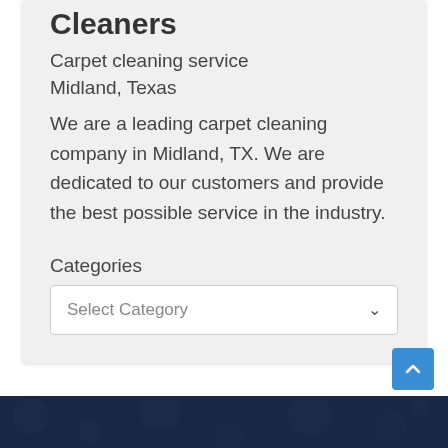Cleaners
Carpet cleaning service
Midland, Texas
We are a leading carpet cleaning company in Midland, TX. We are dedicated to our customers and provide the best possible service in the industry.
Categories
Select Category